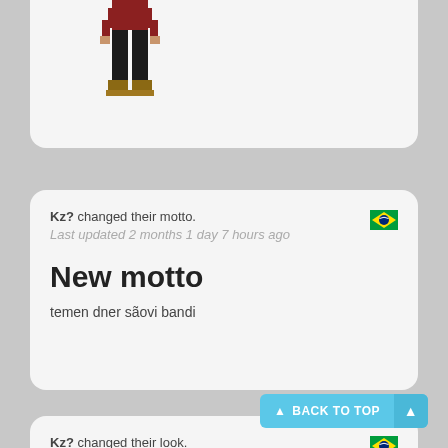[Figure (illustration): Partial pixel art character (lower body in dark red/black clothing and sandals) visible in the top card]
Kz? changed their motto.
Last updated 2 months 1 day 7 hours ago
[Figure (illustration): Brazil flag emoji icon in top-right of motto card]
New motto
temen dner sãovi bandi
Kz? changed their look.
Last updated 2 months 1 day 9 hours ago
[Figure (illustration): Brazil flag emoji icon in top-right of look card]
New look
[Figure (illustration): Partial pixel art character (head/upper body) visible at bottom of look card]